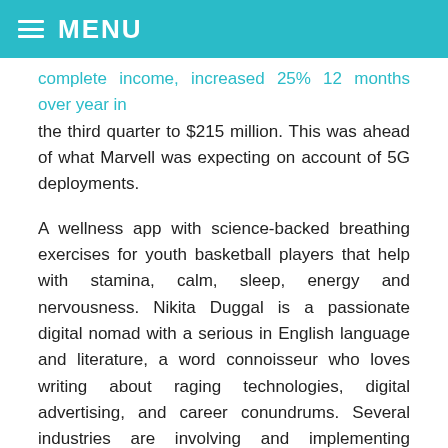MENU
complete income, increased 25% 12 months over year in the third quarter to $215 million. This was ahead of what Marvell was expecting on account of 5G deployments.
A wellness app with science-backed breathing exercises for youth basketball players that help with stamina, calm, sleep, energy and nervousness. Nikita Duggal is a passionate digital nomad with a serious in English language and literature, a word connoisseur who loves writing about raging technologies, digital advertising, and career conundrums. Several industries are involving and implementing blockchain, and as the utilization of blockchain technology increases, so too does the demand for skilled professionals. From a birds eye view, a blockchain developer focuses on creating and implementing structure and solutions using blockchain technology.